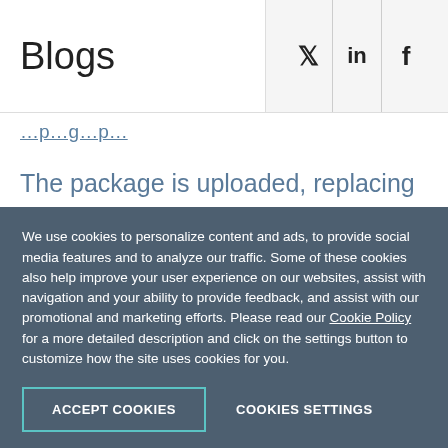Blogs
The package is uploaded, replacing the existing web app files.
Sitefinity startup is triggered, because the website on the node receives a
We use cookies to personalize content and ads, to provide social media features and to analyze our traffic. Some of these cookies also help improve your user experience on our websites, assist with navigation and your ability to provide feedback, and assist with our promotional and marketing efforts. Please read our Cookie Policy for a more detailed description and click on the settings button to customize how the site uses cookies for you.
ACCEPT COOKIES
COOKIES SETTINGS